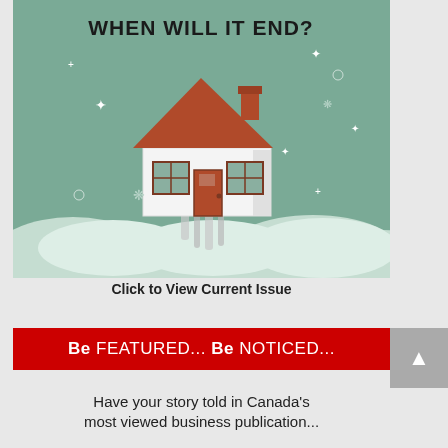[Figure (illustration): Illustration of a house floating upward with rocket-like exhaust below it, set against a green/teal cloudy background with sparkle decorations. Text at top reads 'WHEN WILL IT END?' in bold black letters.]
Click to View Current Issue
Be FEATURED... Be NOTICED...
Have your story told in Canada's most viewed business publication...